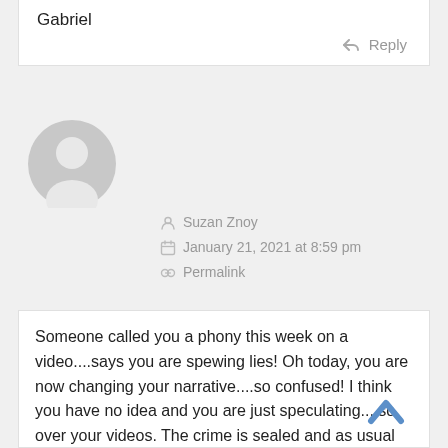Gabriel
Reply
[Figure (illustration): Default grey user avatar icon (circle with person silhouette)]
Suzan Znoy
January 21, 2021 at 8:59 pm
Permalink
Someone called you a phony this week on a video....says you are spewing lies! Oh today, you are now changing your narrative....so confused! I think you have no idea and you are just speculating....so over your videos. The crime is sealed and as usual nothing is ever ever done.